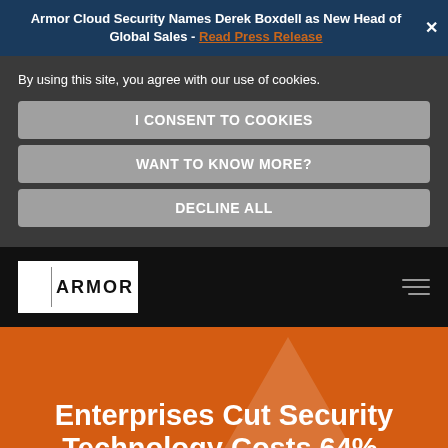Armor Cloud Security Names Derek Boxdell as New Head of Global Sales - Read Press Release
By using this site, you agree with our use of cookies.
I CONSENT TO COOKIES
WANT TO KNOW MORE?
DECLINE ALL
[Figure (logo): Armor logo: white box with ARMOR text and vertical divider]
Enterprises Cut Security Technology Costs 64%,